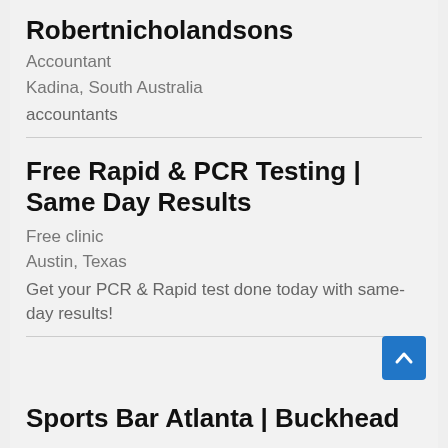Robertnicholandsons
Accountant
Kadina, South Australia
accountants
Free Rapid & PCR Testing | Same Day Results
Free clinic
Austin, Texas
Get your PCR & Rapid test done today with same-day results!
Sports Bar Atlanta | Buckhead